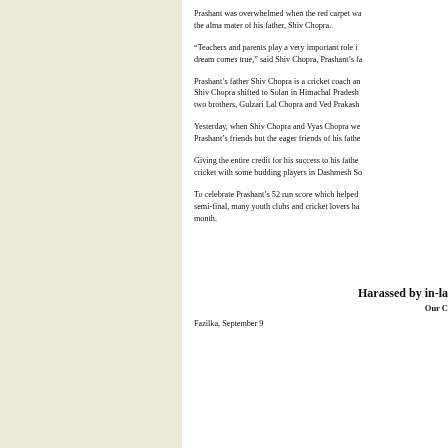Prashant was overwhelmed when the red carpet wa... the alma mater of his father, Shiv Chopra.
“Teachers and parents play a very important role i... dream comes true,” said Shiv Chopra, Prashant’s fa...
Prashant’s father Shiv Chopra is a cricket coach an... Shiv Chopra shifted to Solan in Himachal Pradesh... two brothers, Gulzari Lal Chopra and Ved Prakash...
Yesterday, when Shiv Chopra and Vyas Chopra we... Prashant’s friends but the eager friends of his fathe...
Giving the entire credit for his success to his fathe... cricket with some budding players in Dashmesh So...
To celebrate Prashant’s 52 run score which helped... semi-final, many youth clubs and cricket lovers ha... month.
Harassed by in-la...
Our C...
Fazilka, September 9